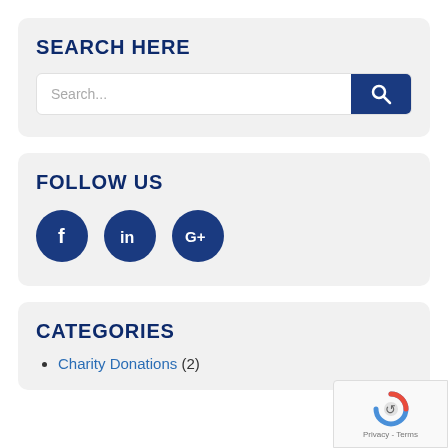SEARCH HERE
Search...
FOLLOW US
[Figure (illustration): Three social media icon circles: Facebook, LinkedIn, Google+]
CATEGORIES
Charity Donations (2)